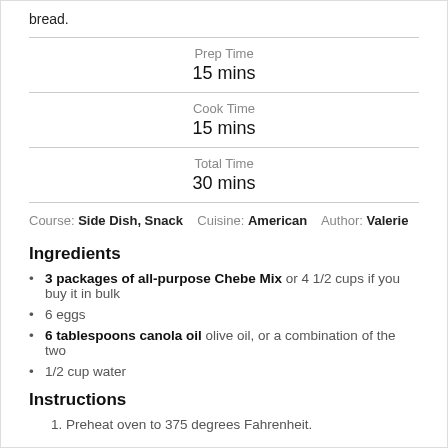bread.
Prep Time
15 mins
Cook Time
15 mins
Total Time
30 mins
Course: Side Dish, Snack   Cuisine: American   Author: Valerie
Ingredients
3 packages of all-purpose Chebe Mix or 4 1/2 cups if you buy it in bulk
6 eggs
6 tablespoons canola oil olive oil, or a combination of the two
1/2 cup water
Instructions
Preheat oven to 375 degrees Fahrenheit.